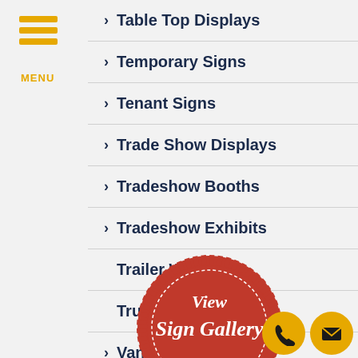[Figure (logo): Hamburger menu icon with three gold horizontal bars and MENU label below]
Table Top Displays
Temporary Signs
Tenant Signs
Trade Show Displays
Tradeshow Booths
Tradeshow Exhibits
Trailer Wraps
Truck Wraps
Van Wraps
[Figure (illustration): Red wax seal stamp overlay reading 'View Sign Gallery CLICK HERE' with gold ribbon banner]
[Figure (illustration): Gold phone button circle and gold mail envelope button circle at bottom right]